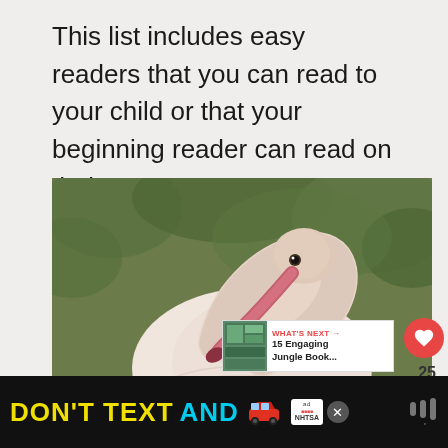This list includes easy readers that you can read to your child or that your beginning reader can read on their own.
[Figure (photo): Close-up photograph of a flamingo with its long curved pink and white neck bent downward, preening itself. Green blurred foliage visible in background.]
25
[Figure (infographic): WHAT'S NEXT overlay with thumbnail: 15 Engaging Jungle Book...]
[Figure (infographic): Advertisement banner: DON'T TEXT AND [car emoji] with ad badge and NHTSA logo on black background]